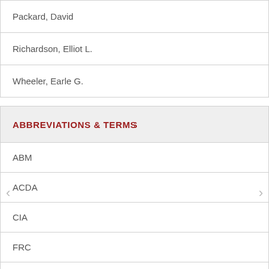| Packard, David |
| Richardson, Elliot L. |
| Wheeler, Earle G. |
ABBREVIATIONS & TERMS
| ABM |
| ACDA |
| CIA |
| FRC |
| ICBM |
| JCS |